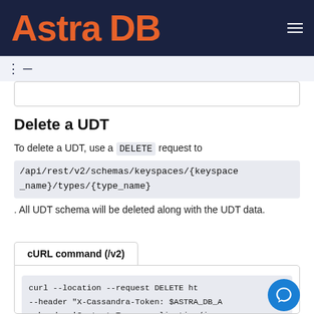Astra DB
Delete a UDT
To delete a UDT, use a DELETE request to /api/rest/v2/schemas/keyspaces/{keyspace_name}/types/{type_name}. All UDT schema will be deleted along with the UDT data.
cURL command (/v2)
curl --location --request DELETE ht...
--header "X-Cassandra-Token: $ASTRA_DB_A...
--header 'Content-Type: application/jso...